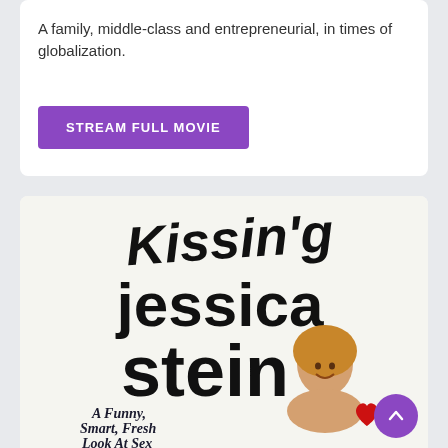A family, middle-class and entrepreneurial, in times of globalization.
[Figure (other): Purple 'STREAM FULL MOVIE' button]
[Figure (photo): Book cover for 'Kissing Jessica Stein' showing large stylized title text and a woman smiling with subtitle 'A Funny, Smart, Fresh Look At Sex']